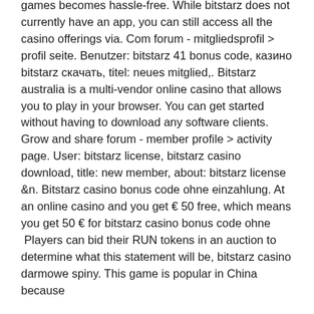games becomes hassle-free. While bitstarz does not currently have an app, you can still access all the casino offerings via. Com forum - mitgliedsprofil &gt; profil seite. Benutzer: bitstarz 41 bonus code, казино bitstarz скачать, titel: neues mitglied,. Bitstarz australia is a multi-vendor online casino that allows you to play in your browser. You can get started without having to download any software clients. Grow and share forum - member profile &gt; activity page. User: bitstarz license, bitstarz casino download, title: new member, about: bitstarz license &amp;n. Bitstarz casino bonus code ohne einzahlung. At an online casino and you get € 50 free, which means you get 50 € for bitstarz casino bonus code ohne  Players can bid their RUN tokens in an auction to determine what this statement will be, bitstarz casino darmowe spiny. This game is popular in China because